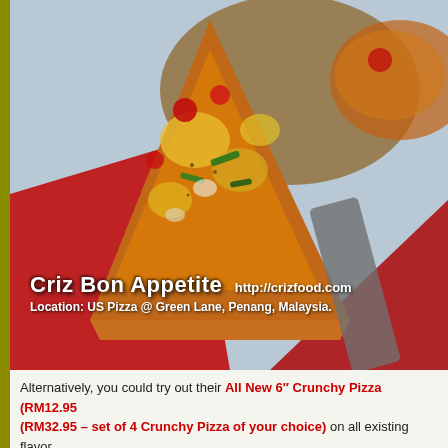[Figure (photo): Close-up photo of a pizza slice being lifted, showing melted cheese, tomatoes, green peppers and various toppings. Red cloth/napkin visible underneath. Photo is watermarked with 'Criz Bon Appetite http://crizfood.com' and 'Location: US Pizza @ Green Lane, Penang, Malaysia.']
Alternatively, you could try out their All New 6" Crunchy Pizza (RM12.95 (RM32.95 – set of 4 Crunchy Pizza of your choice) on all existing flavor